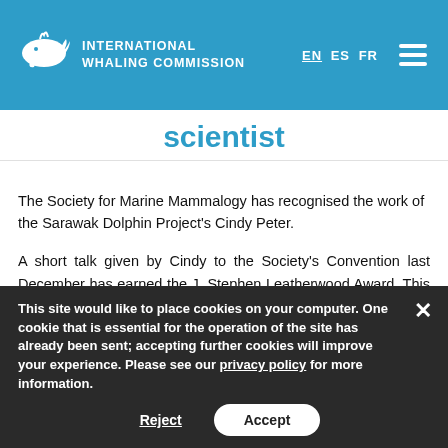INTERNATIONAL WHALING COMMISSION
scientist
The Society for Marine Mammalogy has recognised the work of the Sarawak Dolphin Project's Cindy Peter.
A short talk given by Cindy to the Society's Convention last December has earned the J. Stephen Leatherwood Award. This is an award for the most outstanding student presentation on marine mammals of South and Southeast Asia, with a particular emphasis on conservation.
The Sarawak Dolphin Project received funding from the
This site would like to place cookies on your computer. One cookie that is essential for the operation of the site has already been sent; accepting further cookies will improve your experience. Please see our privacy policy for more information.